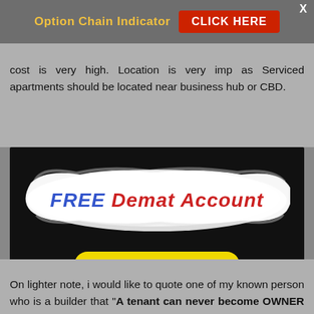Option Chain Indicator   CLICK HERE   X
cost is very high. Location is very imp as Serviced apartments should be located near business hub or CBD.
[Figure (infographic): Black background ad banner with white brush-stroke paint area containing italic bold text 'FREE Demat Account' (FREE in blue, Demat Account in red/italic), and a yellow rounded button below reading 'OPEN NOW →']
On lighter note, i would like to quote one of my known person who is a builder that "A tenant can never become OWNER of a property, if his landlord is Good Human Being" :)